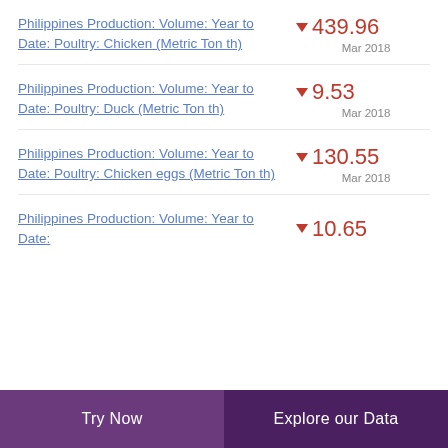Philippines Production: Volume: Year to Date: Poultry: Chicken (Metric Ton th)
Philippines Production: Volume: Year to Date: Poultry: Duck (Metric Ton th)
Philippines Production: Volume: Year to Date: Poultry: Chicken eggs (Metric Ton th)
Philippines Production: Volume: Year to Date:
Try Now   Explore our Data